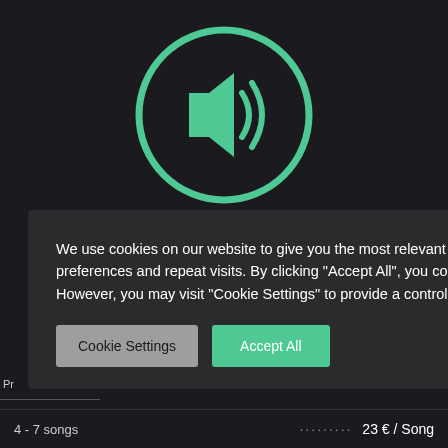[Figure (illustration): Green speaker/audio icon inside a dark circular border on a dark background]
We use cookies on our website to give you the most relevant experience by remembering your preferences and repeat visits. By clicking “Accept All”, you consent to the use of ALL the cookies. However, you may visit "Cookie Settings" to provide a controlled consent.
Cookie Settings
Accept All
ERING
.......... 25 € / Song
Pr
4 - 7 songs
23 € / Song